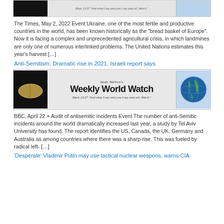[Figure (other): Andy Walton's Weekly World Watch banner with open Bible image on left and globe on right, partially visible at top of page]
The Times, May 2, 2022 Event Ukraine, one of the most fertile and productive countries in the world, has been known historically as the "bread basket of Europe". Now it is facing a complex and unprecedented agricultural crisis, in which landmines are only one of numerous interlinked problems. The United Nations estimates this year's harvest […]
Anti-Semitism: Dramatic rise in 2021, Israeli report says
[Figure (other): Andy Walton's Weekly World Watch banner with open Bible image on left, bold title text in center, and globe on right]
BBC, April 22 + Audit of antisemitic incidents Event The number of anti-Semitic incidents around the world dramatically increased last year, a study by Tel Aviv University has found. The report identifies the US, Canada, the UK, Germany and Australia as among countries where there was a sharp rise. This was fueled by radical left- […]
'Desperate' Vladimir Putin may use tactical nuclear weapons, warns CIA